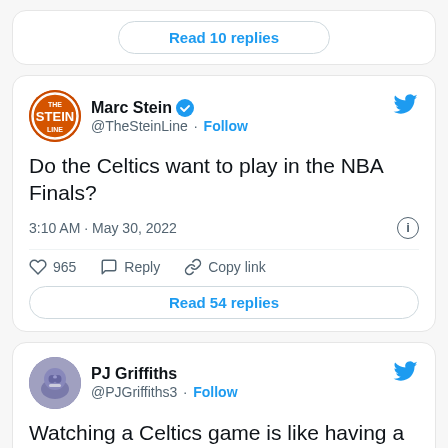Read 10 replies
[Figure (screenshot): Tweet from Marc Stein (@TheSteinLine) with verified badge and Follow button. Tweet text: 'Do the Celtics want to play in the NBA Finals?' Posted at 3:10 AM · May 30, 2022. 965 likes. Read 54 replies button.]
[Figure (screenshot): Tweet from PJ Griffiths (@PJGriffiths3) with Follow button. Tweet text: 'Watching a Celtics game is like having a continuous heart attack']